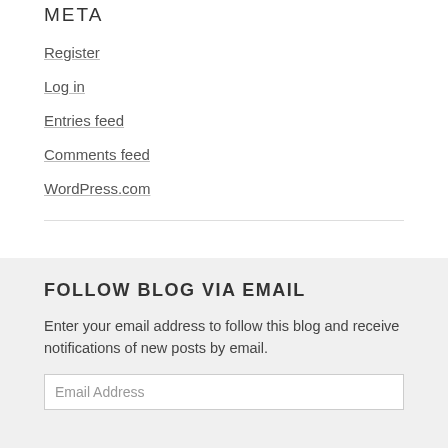META
Register
Log in
Entries feed
Comments feed
WordPress.com
FOLLOW BLOG VIA EMAIL
Enter your email address to follow this blog and receive notifications of new posts by email.
Email Address